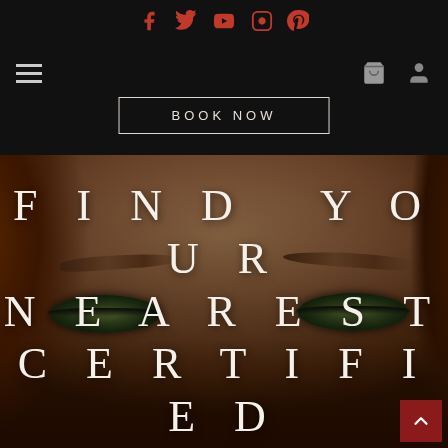Social media icons: Facebook, Twitter, YouTube, Instagram, Pinterest
[Figure (screenshot): Navigation bar with hamburger menu on left, shopping cart and user account icons on right, on dark background]
BOOK NOW
[Figure (photo): Close-up photo of a woman's face showing eyes and eyebrows with dark eye makeup, warm skin tone, auburn hair — overlay text reads FIND YOUR NEAREST CERTIFIED]
FIND YOUR NEAREST CERTIFIED